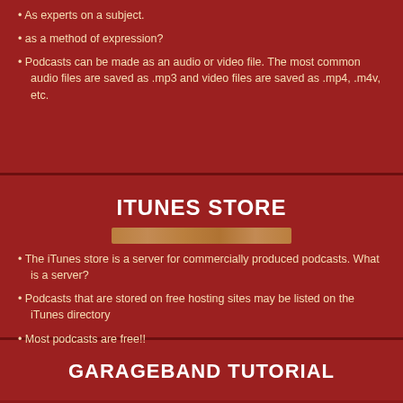As experts on a subject.
as a method of expression?
Podcasts can be made as an audio or video file. The most common audio files are saved as .mp3 and video files are saved as .mp4, .m4v, etc.
ITUNES STORE
The iTunes store is a server for commercially produced podcasts. What is a server?
Podcasts that are stored on free hosting sites may be listed on the iTunes directory
Most podcasts are free!!
GARAGEBAND TUTORIAL